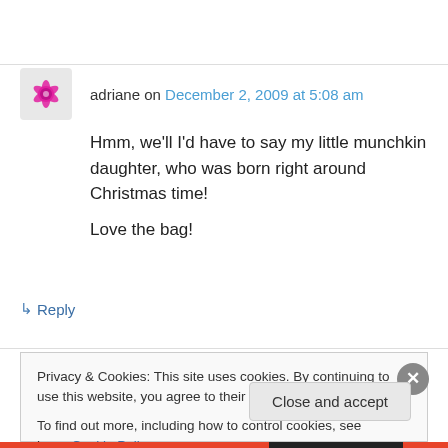adriane on December 2, 2009 at 5:08 am
Hmm, we'll I'd have to say my little munchkin daughter, who was born right around Christmas time!
Love the bag!
↳ Reply
Privacy & Cookies: This site uses cookies. By continuing to use this website, you agree to their use.
To find out more, including how to control cookies, see here: Cookie Policy
Close and accept